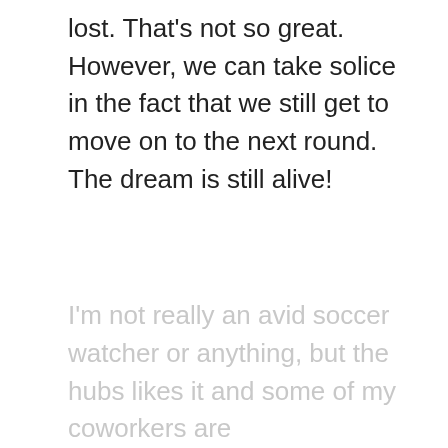lost. That's not so great. However, we can take solice in the fact that we still get to move on to the next round. The dream is still alive!
I'm not really an avid soccer watcher or anything, but the hubs likes it and some of my coworkers are